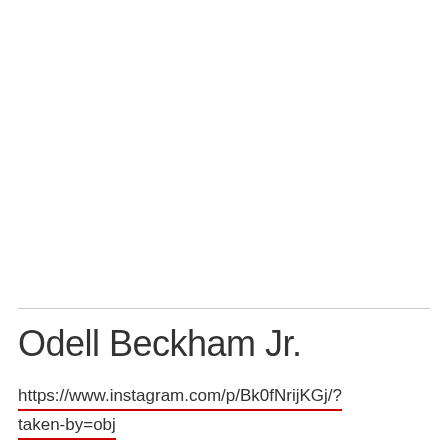Odell Beckham Jr.
https://www.instagram.com/p/Bk0fNrijKGj/?taken-by=obj